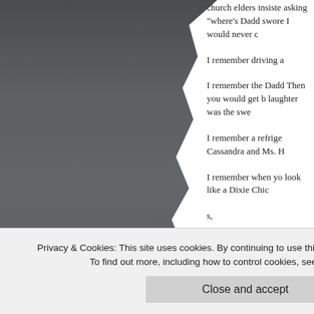[Figure (photo): Gray torn-edge photo or dark background image on left side of page]
church elders insiste asking "where's Dad swore I would never
I remember driving a
I remember the Dadd Then you would get b laughter was the swe
I remember a refrige Cassandra and Ms. H
I remember when yo look like a Dixie Chic
s,
W
his
als
Privacy & Cookies: This site uses cookies. By continuing to use this website, you agree to their use.
To find out more, including how to control cookies, see here: Cookie Policy
Close and accept